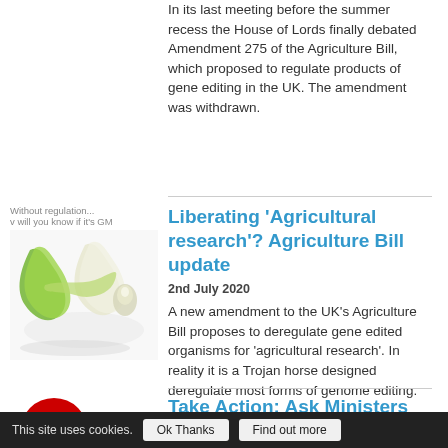In its last meeting before the summer recess the House of Lords finally debated Amendment 275 of the Agriculture Bill, which proposed to regulate products of gene editing in the UK. The amendment was withdrawn.
[Figure (illustration): Green and white twisted ribbon shapes resembling onion peels or DNA strands, with text 'Without regulation... v will you know if it's GM']
Liberating 'Agricultural research'? Agriculture Bill update
2nd July 2020
A new amendment to the UK's Agriculture Bill proposes to deregulate gene edited organisms for 'agricultural research'. In reality it is a Trojan horse designed deregulate most forms of genome editing.
[Figure (illustration): Red circular logo partially visible at bottom left]
Take Action: Ask Ministers
This site uses cookies.